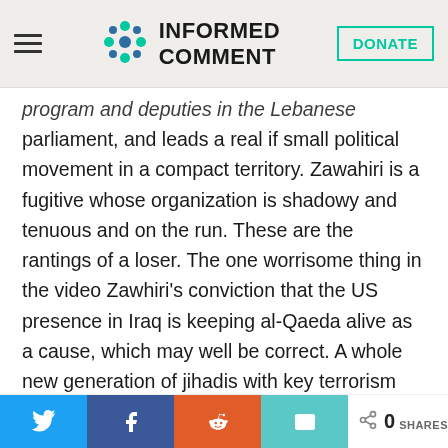[Figure (logo): Informed Comment website header with hamburger menu, logo with decorative icon, and DONATE button]
program and deputies in the Lebanese parliament, and leads a real if small political movement in a compact territory. Zawahiri is a fugitive whose organization is shadowy and tenuous and on the run. These are the rantings of a loser. The one worrisome thing in the video Zawhiri's conviction that the US presence in Iraq is keeping al-Qaeda alive as a cause, which may well be correct. A whole new generation of jihadis with key terrorism skills is being created by their struggle against what they see as US occupation. That
[Figure (infographic): Social share bar with Twitter, Facebook, Reddit, and Email share buttons, and a share count showing 0 SHARES]